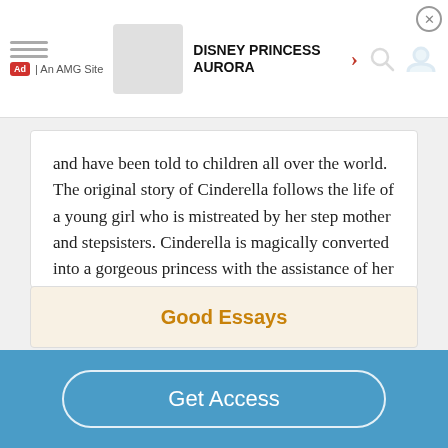DISNEY PRINCESS AURORA | Ad | An AMG Site
and have been told to children all over the world. The original story of Cinderella follows the life of a young girl who is mistreated by her step mother and stepsisters. Cinderella is magically converted into a gorgeous princess with the assistance of her fairy godmother. She then goes to the ball to meet the prince....
Read More
Good Essays
Get Access